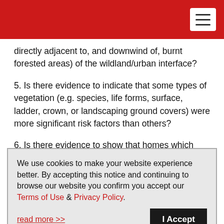directly adjacent to, and downwind of, burnt forested areas) of the wildland/urban interface?
5. Is there evidence to indicate that some types of vegetation (e.g. species, life forms, surface, ladder, crown, or landscaping ground covers) were more significant risk factors than others?
6. Is there evidence to show that homes which ignited
We use cookies to make your website experience better. By accepting this notice and continuing to browse our website you confirm you accept our Terms of Use & Privacy Policy.
read more >>        I Accept
infrastructure hazard factors with regards to homes